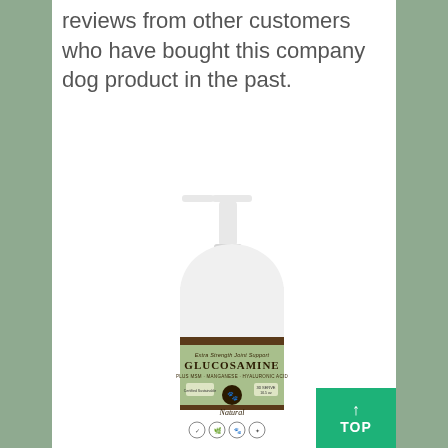reviews from other customers who have bought this company dog product in the past.
[Figure (photo): A white pump bottle with a green label reading 'Extra Strength Joint Support GLUCOSAMINE PLUS MSM · MANGANESE · HYALURONIC ACID Natural' with a dog face logo and certification icons at the bottom.]